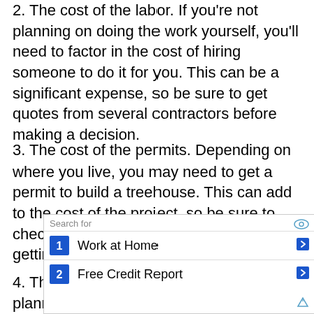2. The cost of the labor. If you're not planning on doing the work yourself, you'll need to factor in the cost of hiring someone to do it for you. This can be a significant expense, so be sure to get quotes from several contractors before making a decision.
3. The cost of the permits. Depending on where you live, you may need to get a permit to build a treehouse. This can add to the cost of the project, so be sure to check with your local authorities before getting started.
4. The cost of the insurance. If you're planning on renting out your treehouse or using it for commercial purposes, you'll need to get insurance. This can add significantly to the cost of the project, so be sure to get quotes from